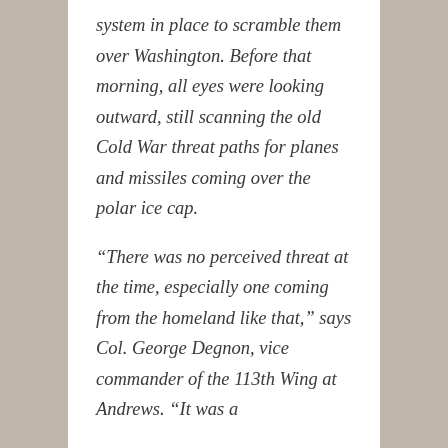system in place to scramble them over Washington. Before that morning, all eyes were looking outward, still scanning the old Cold War threat paths for planes and missiles coming over the polar ice cap.

“There was no perceived threat at the time, especially one coming from the homeland like that,” says Col. George Degnon, vice commander of the 113th Wing at Andrews. “It was a